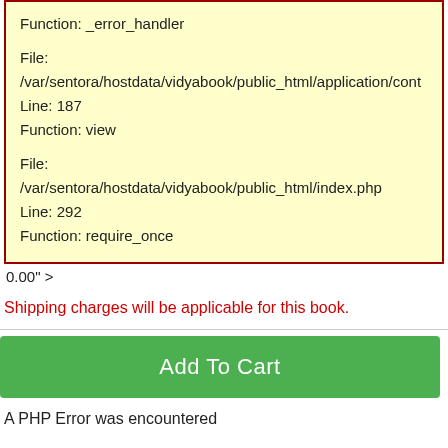Function: _error_handler

File:
/var/sentora/hostdata/vidyabook/public_html/application/cont
Line: 187
Function: view

File:
/var/sentora/hostdata/vidyabook/public_html/index.php
Line: 292
Function: require_once
0.00" >
Shipping charges will be applicable for this book.
Add To Cart
A PHP Error was encountered